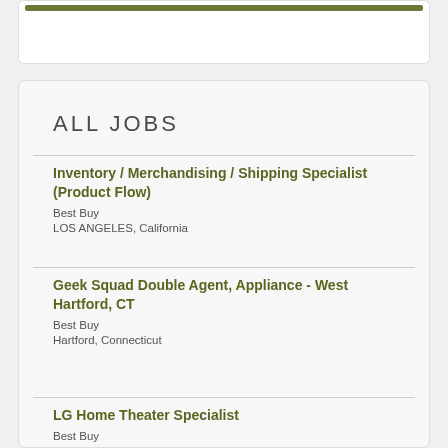[Figure (other): Top card with olive/green horizontal bar]
ALL JOBS
Inventory / Merchandising / Shipping Specialist (Product Flow)
Best Buy
LOS ANGELES, California
Geek Squad Double Agent, Appliance - West Hartford, CT
Best Buy
Hartford, Connecticut
LG Home Theater Specialist
Best Buy
College Station, Texas